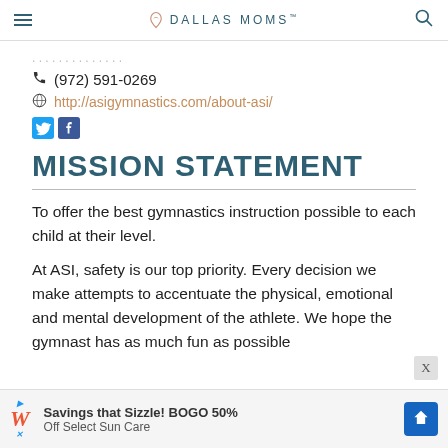DALLAS MOMS
(972) 591-0269
http://asigymnastics.com/about-asi/
[Figure (illustration): Twitter and Facebook social media icons]
MISSION STATEMENT
To offer the best gymnastics instruction possible to each child at their level.
At ASI, safety is our top priority. Every decision we make attempts to accentuate the physical, emotional and mental development of the athlete. We hope the gymnast has as much fun as possible
[Figure (illustration): Advertisement banner: Walgreens - Savings that Sizzle! BOGO 50% Off Select Sun Care]